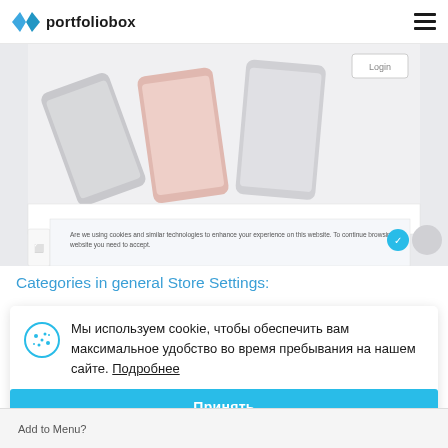portfoliobox
[Figure (screenshot): Screenshot of a website showing mobile phones on a light background with a cookie consent overlay bar at the bottom reading: Are we using cookies and similar technologies to enhance your experience on this website. To continue browsing this website you need to accept.]
Categories in general Store Settings:
Мы используем cookie, чтобы обеспечить вам максимальное удобство во время пребывания на нашем сайте. Подробнее
Принять
Add to Menu?